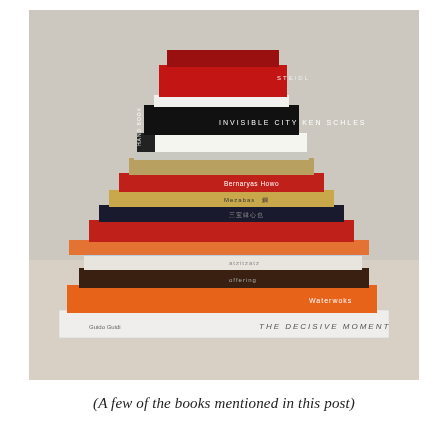[Figure (photo): A tall stack of photography books piled on a flat surface against a neutral background. Visible titles on spines include 'INVISIBLE CITY KEN SCHLES', 'STEIDL', 'THE DECISIVE MOMENT', 'Guido Guidi', and others in various languages. Books vary in color: red, black, white, orange, gold, navy.]
(A few of the books mentioned in this post)